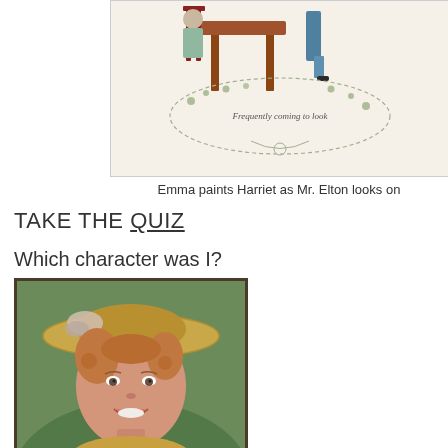[Figure (illustration): Watercolor illustration of Emma painting Harriet as Mr. Elton looks on, with decorative vine border and script text 'Frequently coming to look']
Emma paints Harriet as Mr. Elton looks on
TAKE THE QUIZ
Which character was I?
[Figure (photo): Photo of a young woman with curly reddish hair wearing a large straw hat, smiling]